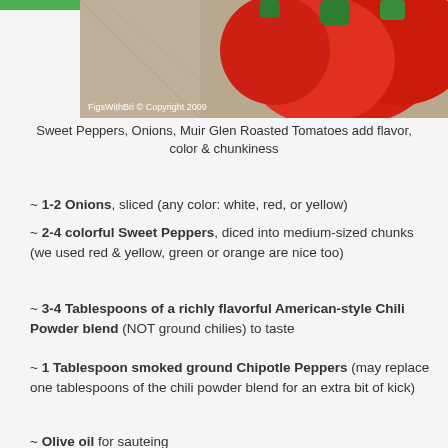[Figure (photo): Photo of red bell peppers on a textured background with copyright watermark 'FigsWithBri © Copyright 2009']
Sweet Peppers, Onions, Muir Glen Roasted Tomatoes add flavor, color & chunkiness
~ 1-2 Onions, sliced (any color: white, red, or yellow)
~ 2-4 colorful Sweet Peppers, diced into medium-sized chunks (we used red & yellow, green or orange are nice too)
~ 3-4 Tablespoons of a richly flavorful American-style Chili Powder blend (NOT ground chilies) to taste
~ 1 Tablespoon smoked ground Chipotle Peppers (may replace one tablespoons of the chili powder blend for an extra bit of kick)
~ Olive oil for sauteing